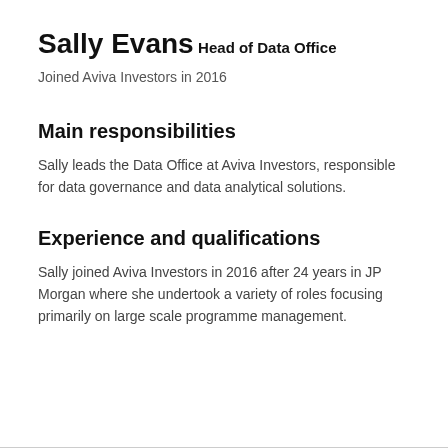Sally Evans
Head of Data Office
Joined Aviva Investors in 2016
Main responsibilities
Sally leads the Data Office at Aviva Investors, responsible for data governance and data analytical solutions.
Experience and qualifications
Sally joined Aviva Investors in 2016 after 24 years in JP Morgan where she undertook a variety of roles focusing primarily on large scale programme management.